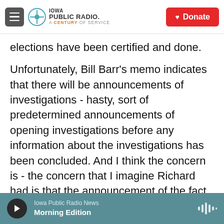Iowa Public Radio. A Century of Service. Donate
elections have been certified and done.
Unfortunately, Bill Barr's memo indicates that there will be announcements of investigations - hasty, sort of predetermined announcements of opening investigations before any information about the investigations has been concluded. And I think the concern is - the concern that I imagine Richard had is that the announcement of the fact of the investigation itself will be used for partisan political purposes, which is exactly why DOJ does not do that.
Iowa Public Radio News. Morning Edition